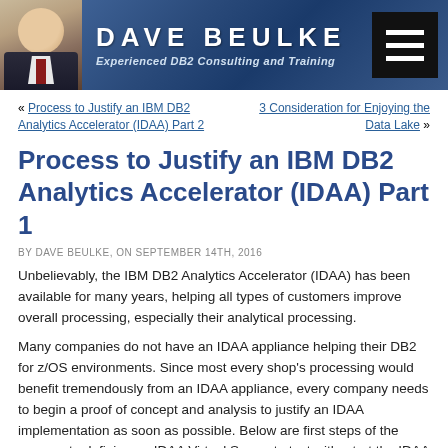[Figure (other): Dave Beulke website header banner with photo of man in suit, name 'DAVE BEULKE', subtitle 'Experienced DB2 Consulting and Training', and hamburger menu icon]
« Process to Justify an IBM DB2 Analytics Accelerator (IDAA) Part 2
3 Consideration for Enjoying the Data Lake »
Process to Justify an IBM DB2 Analytics Accelerator (IDAA) Part 1
BY DAVE BEULKE, ON SEPTEMBER 14TH, 2016
Unbelievably, the IBM DB2 Analytics Accelerator (IDAA) has been available for many years, helping all types of customers improve overall processing, especially their analytical processing.
Many companies do not have an IDAA appliance helping their DB2 for z/OS environments. Since most every shop's processing would benefit tremendously from an IDAA appliance, every company needs to begin a proof of concept and analysis to justify an IDAA implementation as soon as possible. Below are first steps of the process to defining an IDAA Virtual Server to test with, start the IDAA benefits conversations, and overall justification activities.